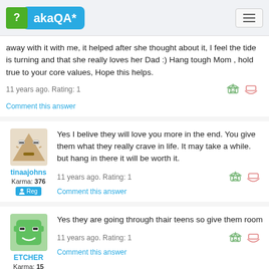akaQA*
away with it with me, it helped after she thought about it, I feel the tide is turning and that she really loves her Dad :) Hang tough Mom , hold true to your core values, Hope this helps.
11 years ago. Rating: 1
Comment this answer
tinaajohns
Karma: 376
Reg
Yes I belive they will love you more in the end. You give them what they really crave in life. It may take a while. but hang in there it will be worth it.
11 years ago. Rating: 1
Comment this answer
ETCHER
Karma: 15
Reg
Yes they are going through thair teens so give them room
11 years ago. Rating: 1
Comment this answer